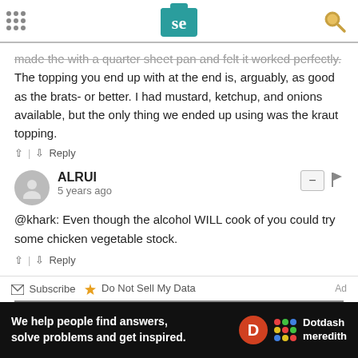SE logo header with navigation and search
...made the with a quarter sheet pan and felt it worked perfectly. The topping you end up with at the end is, arguably, as good as the brats- or better. I had mustard, ketchup, and onions available, but the only thing we ended up using was the kraut topping.
^ | v  Reply
ALRUI
5 years ago
@khark: Even though the alcohol WILL cook of you could try some chicken vegetable stock.
^ | v  Reply
Load more comments
Subscribe  Do Not Sell My Data  Ad
[Figure (infographic): Dotdash Meredith advertisement banner: 'We help people find answers, solve problems and get inspired.' with D logo and colorful dots grid]